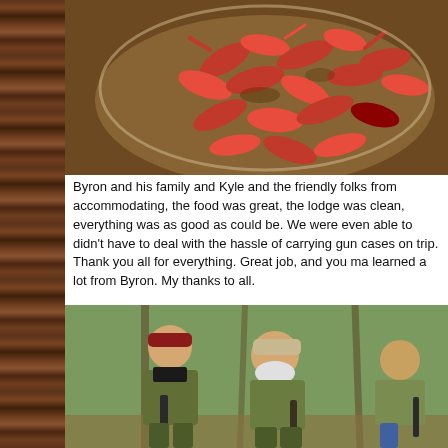[Figure (photo): Close-up overhead photo of cooked red crawfish/crayfish piled in a glass bowl on a dark surface]
Byron and his family and Kyle and the friendly folks from accommodating, the food was great, the lodge was clean, everything was as good as could be. We were even able to didn't have to deal with the hassle of carrying gun cases on trip. Thank you all for everything. Great job, and you ma learned a lot from Byron. My thanks to all.
[Figure (photo): Photo of three men in camouflage hunting gear posing outdoors in a wooded area, holding rifles]